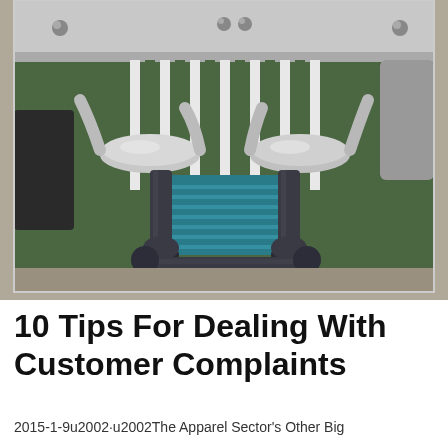[Figure (photo): Close-up photo of industrial piping or plumbing equipment — features chrome metal fittings/handles at top, green striped cylindrical component in the background, dark grey/black pipe connectors and joints forming a U-shape frame at the bottom, with a teal/blue element visible between the pipes. Background is grey concrete floor.]
10 Tips For Dealing With Customer Complaints
2015-1-9u2002·u2002The Apparel Sector's Other Big